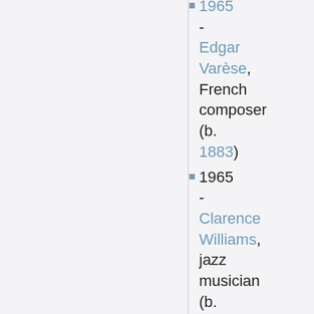1965 - Edgar Varèse, French composer (b. 1883)
1965 - Clarence Williams, jazz musician (b.